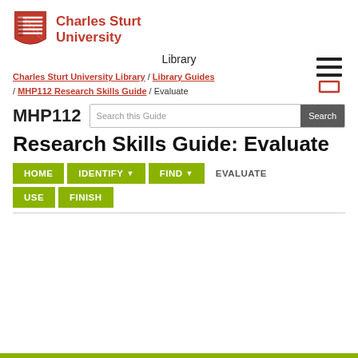[Figure (logo): Charles Sturt University logo with shield icon and university name in red]
Library
[Figure (other): Hamburger menu icon (three horizontal lines) with a mobile browser chrome indicator below]
Charles Sturt University Library / Library Guides / MHP112 Research Skills Guide / Evaluate
MHP112
Research Skills Guide: Evaluate
HOME  IDENTIFY  FIND  EVALUATE  USE  FINISH